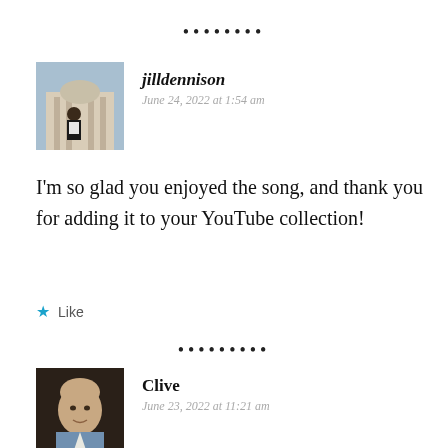[Figure (other): Decorative dot separator row]
[Figure (photo): Profile photo of jilldennison, woman standing in front of a European building]
jilldennison
June 24, 2022 at 1:54 am
I'm so glad you enjoyed the song, and thank you for adding it to your YouTube collection!
Like
[Figure (other): Decorative dot separator row]
[Figure (photo): Profile photo of Clive, older bald man]
Clive
June 23, 2022 at 11:21 am